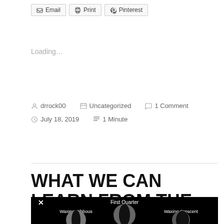Email | Print | Pinterest
Loading…
drrock00  Uncategorized  1 Comment  July 18, 2019  1 Minute
WHAT WE CAN LEARN FROM THE MOON
[Figure (photo): Black and white photograph of moon phases showing Waxing Gibbous, First Quarter, and Waxing Crescent]